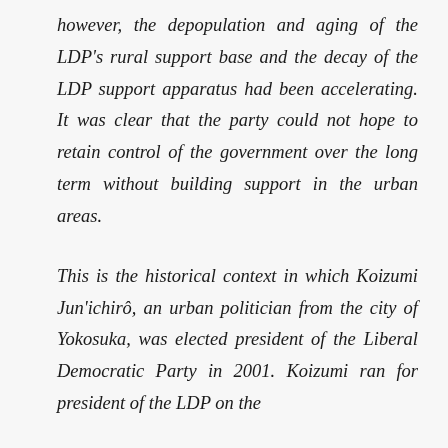however, the depopulation and aging of the LDP's rural support base and the decay of the LDP support apparatus had been accelerating. It was clear that the party could not hope to retain control of the government over the long term without building support in the urban areas.
This is the historical context in which Koizumi Jun'ichirô, an urban politician from the city of Yokosuka, was elected president of the Liberal Democratic Party in 2001. Koizumi ran for president of the LDP on the